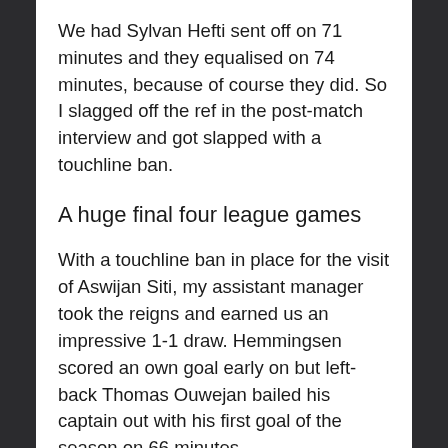We had Sylvan Hefti sent off on 71 minutes and they equalised on 74 minutes, because of course they did. So I slagged off the ref in the post-match interview and got slapped with a touchline ban.
A huge final four league games
With a touchline ban in place for the visit of Aswijan Siti, my assistant manager took the reigns and earned us an impressive 1-1 draw. Hemmingsen scored an own goal early on but left-back Thomas Ouwejan bailed his captain out with his first goal of the season on 66 minutes.
We then played really poorly but snuck a 1-0 win over Talat, in which Hemmingsen scored at the right end after 5 minutes. This left us in third place and just 3 points off the top with 2 games remaining